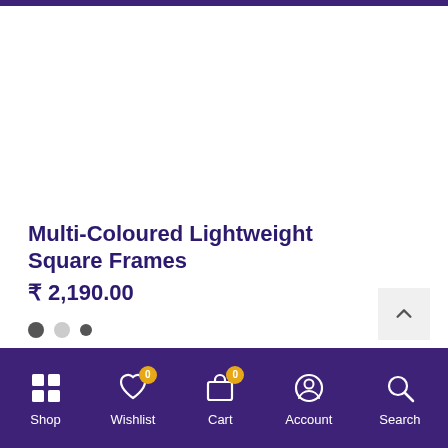Multi-Coloured Lightweight Square Frames  ₹ 2,190.00
[Figure (infographic): Three navigation dots: first filled dark, second light gray, third small dark]
Shop  Wishlist (0)  Cart (0)  Account  Search